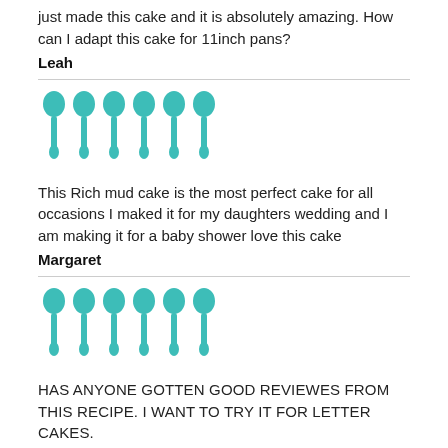just made this cake and it is absolutely amazing. How can I adapt this cake for 11inch pans?
Leah
[Figure (illustration): Six teal/turquoise spoon icons arranged in a row, representing a 6-spoon rating]
This Rich mud cake is the most perfect cake for all occasions I maked it for my daughters wedding and I am making it for a baby shower love this cake
Margaret
[Figure (illustration): Six teal/turquoise spoon icons arranged in a row, representing a 6-spoon rating]
HAS ANYONE GOTTEN GOOD REVIEWES FROM THIS RECIPE. I WANT TO TRY IT FOR LETTER CAKES.
KRISTINA